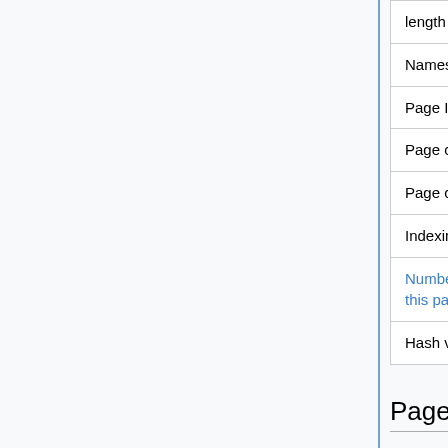| Property | Value |
| --- | --- |
| length (in bytes) | 0 |
| Namespace | File |
| Page ID | 1786 |
| Page content language | en - English |
| Page content model | wikitext |
| Indexing by robots | Allowed |
| Number of redirects to this page | 0 |
| Hash value | d414735939bac4d26abca03 |
Page protection